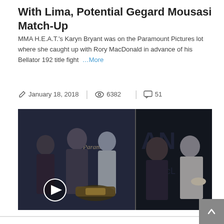With Lima, Potential Gegard Mousasi Match-Up
MMA H.E.A.T.'s Karyn Bryant was on the Paramount Pictures lot where she caught up with Rory MacDonald in advance of his Bellator 192 title fight  …More
January 18, 2018   6382   51
[Figure (photo): Two side-by-side press conference face-off photos from Bellator 192. Left: two fighters facing off with a championship belt visible and a play button overlay. Right: two more fighters in a close face-off.]
Bellator 192 Pre-Fight Presser With Rampage,